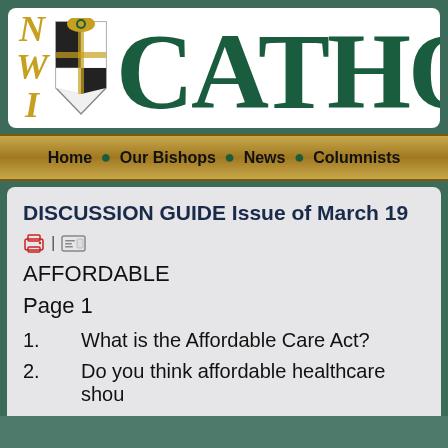[Figure (logo): NWI Catholic newspaper logo with crest/shield emblem, large serif letters CATHO in dark green, NWI in gold italic]
Home • Our Bishops • News • Columnists
DISCUSSION GUIDE Issue of March 19
AFFORDABLE
Page 1
1. What is the Affordable Care Act?
2. Do you think affordable healthcare shou...